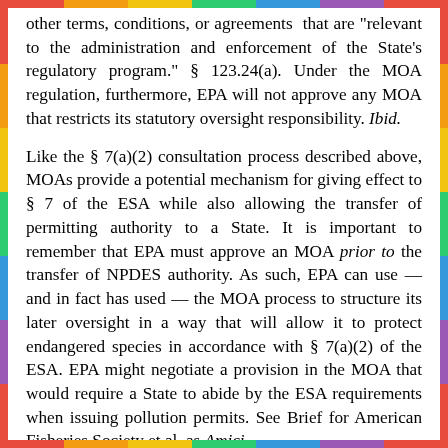other terms, conditions, or agreements that are "relevant to the administration and enforcement of the State's regulatory program." § 123.24(a). Under the MOA regulation, furthermore, EPA will not approve any MOA that restricts its statutory oversight responsibility. Ibid.
Like the § 7(a)(2) consultation process described above, MOAs provide a potential mechanism for giving effect to § 7 of the ESA while also allowing the transfer of permitting authority to a State. It is important to remember that EPA must approve an MOA prior to the transfer of NPDES authority. As such, EPA can use — and in fact has used — the MOA process to structure its later oversight in a way that will allow it to protect endangered species in accordance with § 7(a)(2) of the ESA. EPA might negotiate a provision in the MOA that would require a State to abide by the ESA requirements when issuing pollution permits. See Brief for American Fisheries Society et al. as Amici